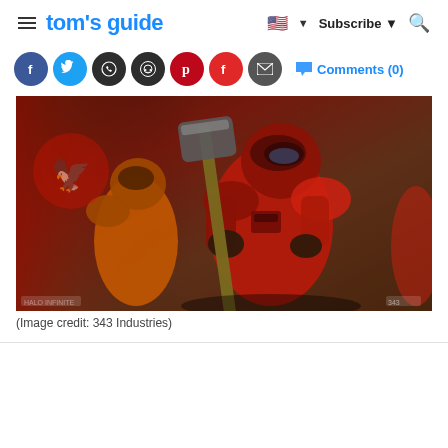tom's guide | Subscribe | Search
Social share icons and Comments (0)
[Figure (photo): Halo Infinite screenshot showing red-armored Spartan warrior holding a gravity hammer, with an orange-armored Spartan in the background, against a red-lit environment with a bird emblem on the wall. Image credit: 343 Industries.]
(Image credit: 343 Industries)